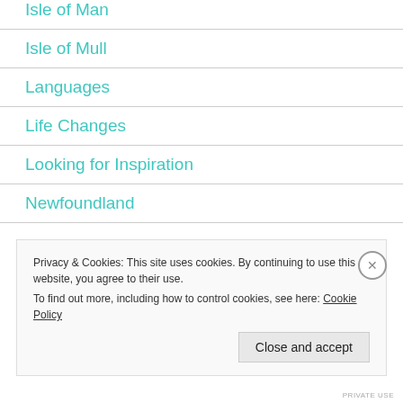Isle of Man
Isle of Mull
Languages
Life Changes
Looking for Inspiration
Newfoundland
Privacy & Cookies: This site uses cookies. By continuing to use this website, you agree to their use.
To find out more, including how to control cookies, see here: Cookie Policy
Close and accept